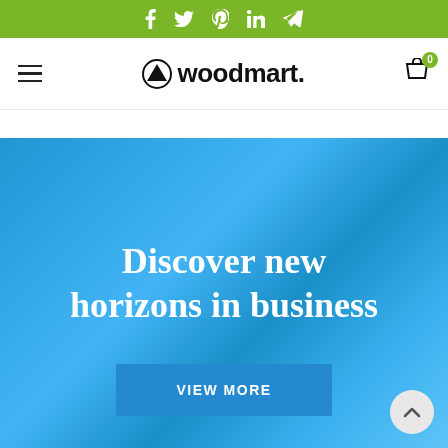Social icons bar: Facebook, Twitter, Pinterest, LinkedIn, Telegram
[Figure (logo): Woodmart logo with triangle/tree icon and text 'woodmart.' in black on white nav bar, with hamburger menu on left and cart icon (badge: 0) on right]
Discover new horizons in business
VIEW MORE